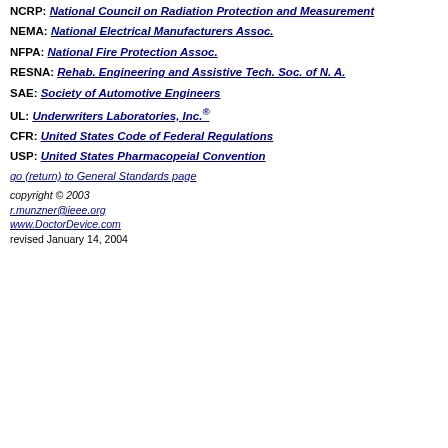NCRP: National Council on Radiation Protection and Measurement
NEMA: National Electrical Manufacturers Assoc.
NFPA: National Fire Protection Assoc.
RESNA: Rehab. Engineering and Assistive Tech. Soc. of N. A.
SAE: Society of Automotive Engineers
UL: Underwriters Laboratories, Inc.®
CFR: United States Code of Federal Regulations
USP: United States Pharmacopeial Convention
go (return) to General Standards page
copyright © 2003
r.munzner@ieee.org
www.DoctorDevice.com
revised January 14, 2004